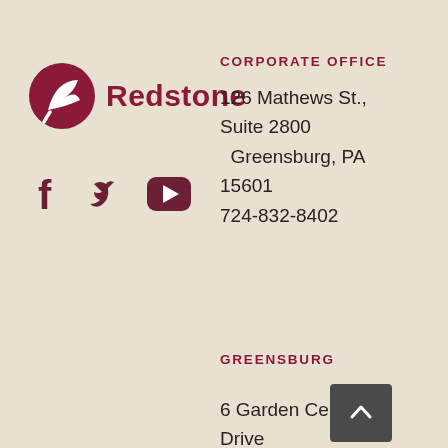[Figure (logo): Redstone logo with stylized leaf/bird icon and text 'Redstone']
[Figure (infographic): Social media icons: Facebook, Twitter, YouTube in dark red]
CORPORATE OFFICE
126 Mathews St., Suite 2800
Greensburg, PA 15601
724-832-8402
GREENSBURG
6 Garden Center Drive